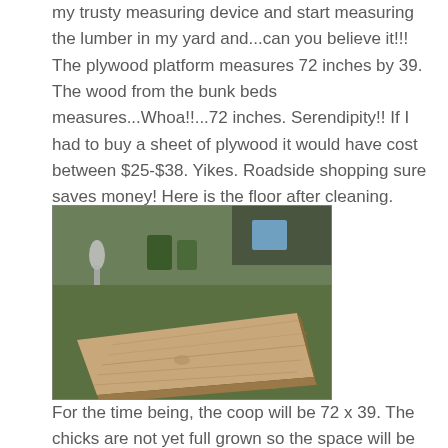my trusty measuring device and start measuring the lumber in my yard and...can you believe it!!! The plywood platform measures 72 inches by 39. The wood from the bunk beds measures...Whoa!!...72 inches. Serendipity!! If I had to buy a sheet of plywood it would have cost between $25-$38. Yikes. Roadside shopping sure saves money! Here is the floor after cleaning.
[Figure (photo): A large flat plywood board lying on grass outdoors, with garden decorations and plants visible in the background.]
For the time being, the coop will be 72 x 39. The chicks are not yet full grown so the space will be adequate. Yes, that's